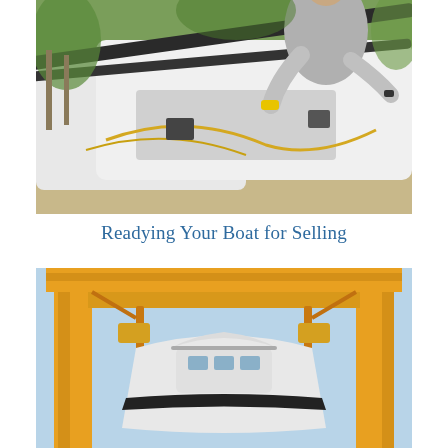[Figure (photo): A man in a grey t-shirt using a yellow spray tool on a white sailboat hull outdoors, with ropes and rigging visible and green foliage in the background.]
Readying Your Boat for Selling
[Figure (photo): A white motorboat/yacht being lifted by a large yellow crane/travel lift structure against a blue sky background, viewed from below at the bow.]